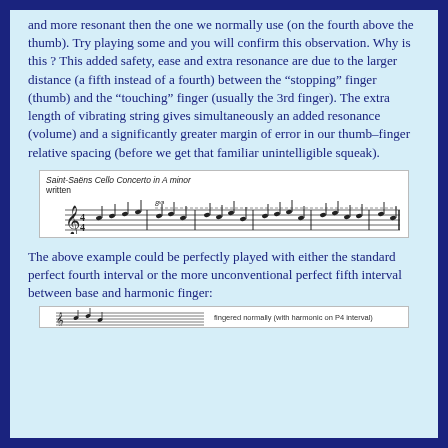and more resonant then the one we normally use (on the fourth above the thumb). Try playing some and you will confirm this observation. Why is this ? This added safety, ease and extra resonance are due to the larger distance (a fifth instead of a fourth) between the “stopping” finger (thumb) and the “touching” finger (usually the 3rd finger). The extra length of vibrating string gives simultaneously an added resonance (volume) and a significantly greater margin of error in our thumb-finger relative spacing (before we get that familiar unintelligible squeak).
[Figure (illustration): Music score excerpt: Saint-Saens Cello Concerto in A minor, written, showing a treble clef staff with notes and 8va marking]
The above example could be perfectly played with either the standard perfect fourth interval or the more unconventional perfect fifth interval between base and harmonic finger:
[Figure (illustration): Partial music score showing beginning of staff with caption 'fingered normally (with harmonic on P4 interval)']